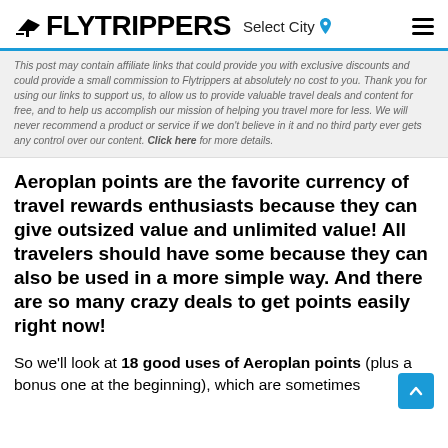FLYTRIPPERS Select City
This post may contain affiliate links that could provide you with exclusive discounts and could provide a small commission to Flytrippers at absolutely no cost to you. Thank you for using our links to support us, to allow us to provide valuable travel deals and content for free, and to help us accomplish our mission of helping you travel more for less. We will never recommend a product or service if we don't believe in it and no third party ever gets any control over our content. Click here for more details.
Aeroplan points are the favorite currency of travel rewards enthusiasts because they can give outsized value and unlimited value! All travelers should have some because they can also be used in a more simple way. And there are so many crazy deals to get points easily right now!
So we'll look at 18 good uses of Aeroplan points (plus a bonus one at the beginning), which are sometimes